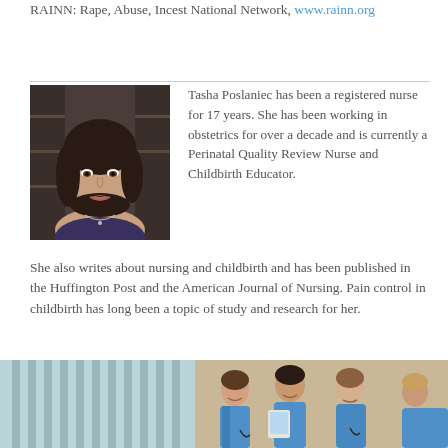RAINN: Rape, Abuse, Incest National Network, www.rainn.org
[Figure (photo): Portrait photo of Tasha Poslaniec, a woman with dark hair]
Tasha Poslaniec has been a registered nurse for 17 years. She has been working in obstetrics for over a decade and is currently a Perinatal Quality Review Nurse and Childbirth Educator.
She also writes about nursing and childbirth and has been published in the Huffington Post and the American Journal of Nursing. Pain control in childbirth has long been a topic of study and research for her.
[Figure (photo): Group of nurses in blue scrubs gathered together, smiling and looking at a tablet]